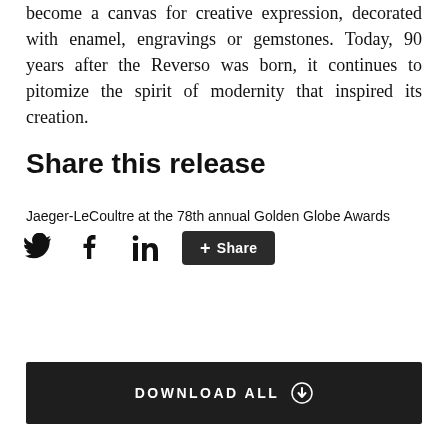become a canvas for creative expression, decorated with enamel, engravings or gemstones. Today, 90 years after the Reverso was born, it continues to pitomize the spirit of modernity that inspired its creation.
Share this release
Jaeger-LeCoultre at the 78th annual Golden Globe Awards
[Figure (other): Social share buttons: Twitter bird icon, Facebook f icon, LinkedIn in icon, and a dark rounded Share button with plus icon]
[Figure (other): Dark download bar with text DOWNLOAD ALL and a download arrow icon]